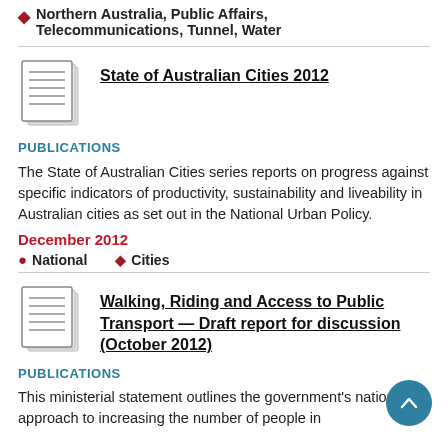Northern Australia, Public Affairs, Telecommunications, Tunnel, Water
[Figure (illustration): Document/pages icon representing a publication]
State of Australian Cities 2012
PUBLICATIONS
The State of Australian Cities series reports on progress against specific indicators of productivity, sustainability and liveability in Australian cities as set out in the National Urban Policy.
December 2012
National   Cities
[Figure (illustration): Document/pages icon representing a publication]
Walking, Riding and Access to Public Transport — Draft report for discussion (October 2012)
PUBLICATIONS
This ministerial statement outlines the government's national approach to increasing the number of people in